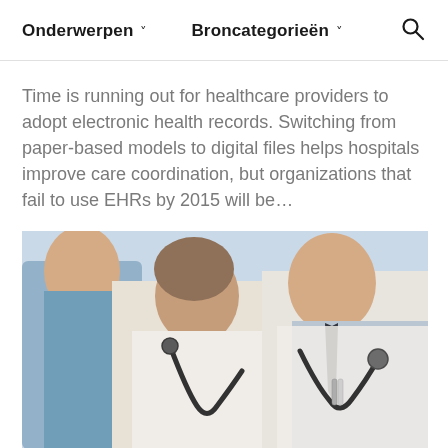Onderwerpen  Broncategorieën  🔍
Time is running out for healthcare providers to adopt electronic health records. Switching from paper-based models to digital files helps hospitals improve care coordination, but organizations that fail to use EHRs by 2015 will be…
[Figure (photo): Three healthcare professionals in white coats with stethoscopes, photographed from chest level, with a blurred clinical background. One person on the left wears blue scrubs, the center and right figures wear white lab coats.]